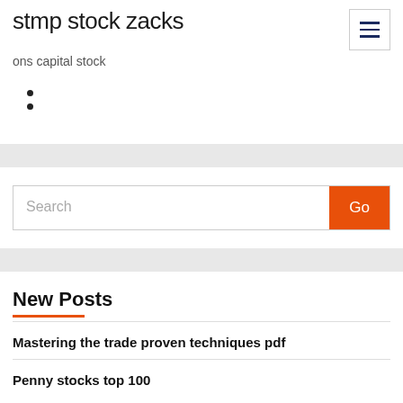stmp stock zacks
ons capital stock
Search
New Posts
Mastering the trade proven techniques pdf
Penny stocks top 100